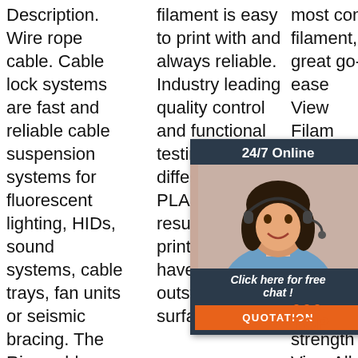Description. Wire rope cable. Cable lock systems are fast and reliable cable suspension systems for fluorescent lighting, HIDs, sound systems, cable trays, fan units or seismic bracing. The Rize cable hanging
filament is easy to print with and always reliable. Industry leading quality control and functional testing differentiates our PLA material, resulting in printed parts that have an outstanding surface finish
most common filament, PLA is a great go-to material for its ease... View Filam... $15. $9,5 ABS dura... versa... material perfect for projects that need strength View All.
[Figure (other): Live chat widget overlay showing a customer service representative wearing a headset, with '24/7 Online' header, 'Click here for free chat!' text, and an orange QUOTATION button.]